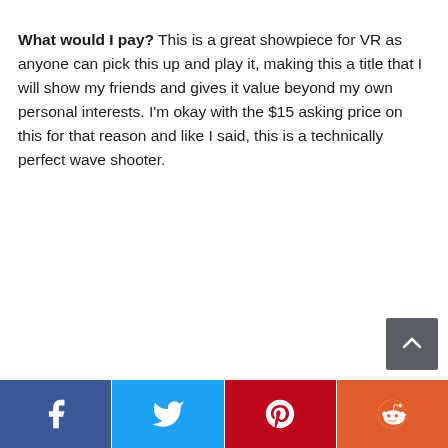What would I pay? This is a great showpiece for VR as anyone can pick this up and play it, making this a title that I will show my friends and gives it value beyond my own personal interests. I'm okay with the $15 asking price on this for that reason and like I said, this is a technically perfect wave shooter.
[Figure (infographic): Social media share buttons bar at bottom: Facebook (blue), Twitter (light blue), Pinterest (red), Reddit (orange), each with respective icon]